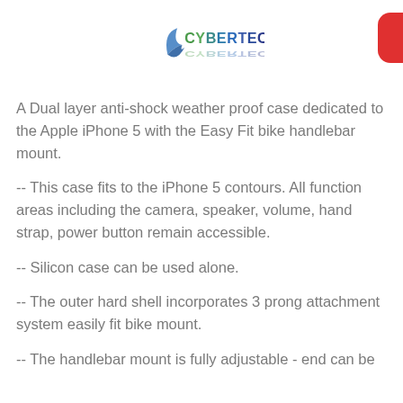[Figure (logo): CyberTech logo with reflection]
A Dual layer anti-shock weather proof case dedicated to the Apple iPhone 5 with the Easy Fit bike handlebar mount.
-- This case fits to the iPhone 5 contours. All function areas including the camera, speaker, volume, hand strap, power button remain accessible.
-- Silicon case can be used alone.
-- The outer hard shell incorporates 3 prong attachment system easily fit bike mount.
-- The handlebar mount is fully adjustable - end can be